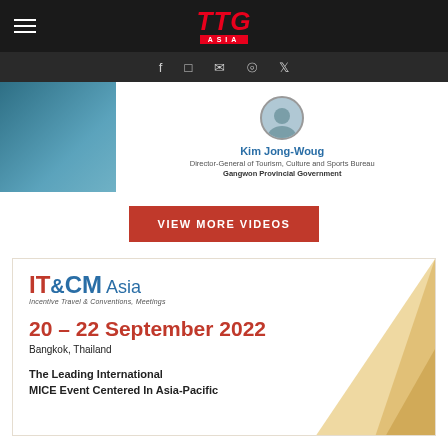TTG Asia
[Figure (screenshot): Video card showing Kim Jong-Woug, Director-General of Tourism, Culture and Sports Bureau, Gangwon Provincial Government with aerial coastal background]
Kim Jong-Woug
Director-General of Tourism, Culture and Sports Bureau
Gangwon Provincial Government
VIEW MORE VIDEOS
[Figure (logo): IT&CM Asia advertisement - Incentive Travel & Conventions, Meetings. 20 - 22 September 2022, Bangkok, Thailand. The Leading International MICE Event Centered In Asia-Pacific]